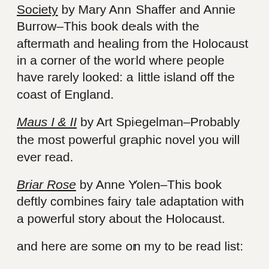Society by Mary Ann Shaffer and Annie Burrow–This book deals with the aftermath and healing from the Holocaust in a corner of the world where people have rarely looked: a little island off the coast of England.
Maus I & II by Art Spiegelman–Probably the most powerful graphic novel you will ever read.
Briar Rose by Anne Yolen–This book deftly combines fairy tale adaptation with a powerful story about the Holocaust.
and here are some on my to be read list:
Suite Francaise by Irene Nemirovsky
All The Light We Cannot See by Anthony Doerr